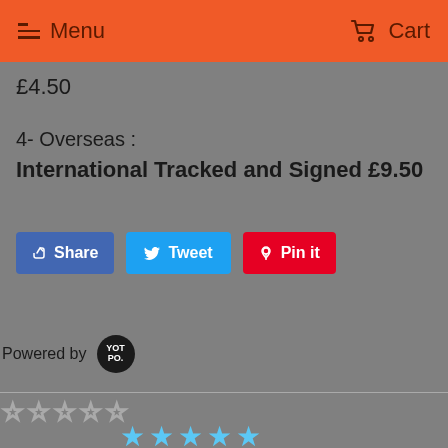Menu  Cart
£4.50
4- Overseas :
International Tracked and Signed £9.50
[Figure (other): Social share buttons: Facebook Share, Twitter Tweet, Pinterest Pin it]
Powered by YOTPO
[Figure (other): 5 empty star rating icons]
[Figure (other): 5 filled blue star icons at bottom]